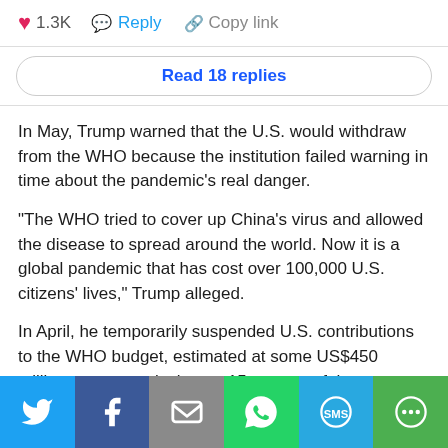[Figure (screenshot): Social media interaction bar showing heart icon with 1.3K count, Reply button, and Copy link button]
Read 18 replies
In May, Trump warned that the U.S. would withdraw from the WHO because the institution failed warning in time about the pandemic's real danger.
"The WHO tried to cover up China's virus and allowed the disease to spread around the world. Now it is a global pandemic that has cost over 100,000 U.S. citizens' lives," Trump alleged.
In April, he temporarily suspended U.S. contributions to the WHO budget, estimated at some US$450 million a year, equivalent to 15 percent of the institution's budget.
"Now is the time to support the WHO and any other humanitarian organization fighting the coronavirus," United Nations (UN) Secretary-General Antonio Guterres said.
[Figure (infographic): Social share bar with Twitter, Facebook, Email, WhatsApp, SMS, and More icons on colored backgrounds]